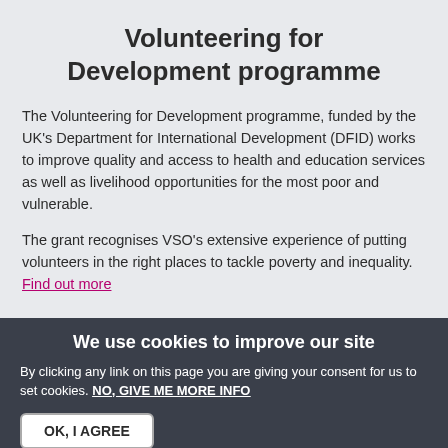Volunteering for Development programme
The Volunteering for Development programme, funded by the UK's Department for International Development (DFID) works to improve quality and access to health and education services as well as livelihood opportunities for the most poor and vulnerable.
The grant recognises VSO's extensive experience of putting volunteers in the right places to tackle poverty and inequality. Find out more
We use cookies to improve our site
By clicking any link on this page you are giving your consent for us to set cookies. NO, GIVE ME MORE INFO
OK, I AGREE